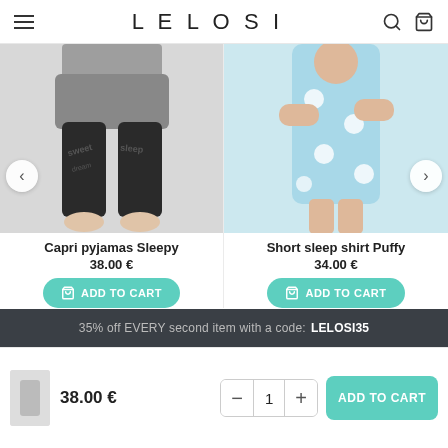LELOSI
[Figure (photo): Capri pyjamas Sleepy — grey shorts over black printed leggings with text pattern, worn by a model cropped at waist]
Capri pyjamas Sleepy
38.00 €
[Figure (photo): Short sleep shirt Puffy — light blue short-sleeve dress with sheep/cloud print pattern, worn by a young model]
Short sleep shirt Puffy
34.00 €
35% off EVERY second item with a code: LELOSI35
38.00 €